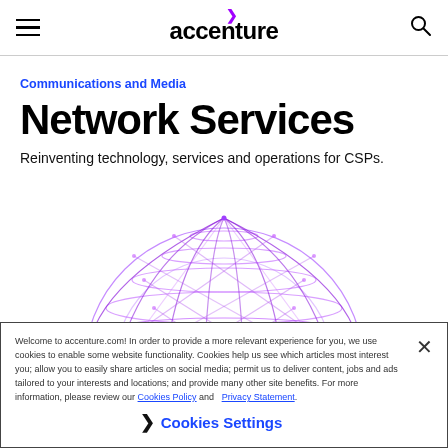accenture — Navigation bar with hamburger menu and search icon
Communications and Media
Network Services
Reinventing technology, services and operations for CSPs.
[Figure (illustration): Purple wireframe geodesic dome/globe illustration]
Welcome to accenture.com! In order to provide a more relevant experience for you, we use cookies to enable some website functionality. Cookies help us see which articles most interest you; allow you to easily share articles on social media; permit us to deliver content, jobs and ads tailored to your interests and locations; and provide many other site benefits. For more information, please review our Cookies Policy and Privacy Statement.
Cookies Settings